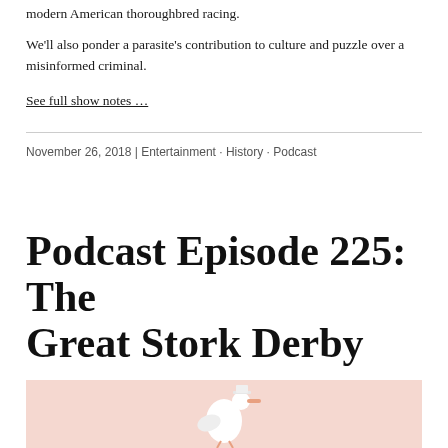modern American thoroughbred racing.
We'll also ponder a parasite's contribution to culture and puzzle over a misinformed criminal.
See full show notes …
November 26, 2018 | Entertainment · History · Podcast
Podcast Episode 225: The Great Stork Derby
[Figure (photo): Pink-tinted photo of a stork bird at the bottom of the page]